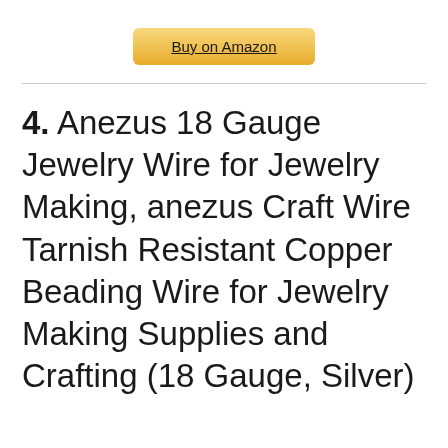[Figure (other): Buy on Amazon button with golden/yellow gradient background and underlined text]
4. Anezus 18 Gauge Jewelry Wire for Jewelry Making, anezus Craft Wire Tarnish Resistant Copper Beading Wire for Jewelry Making Supplies and Crafting (18 Gauge, Silver)